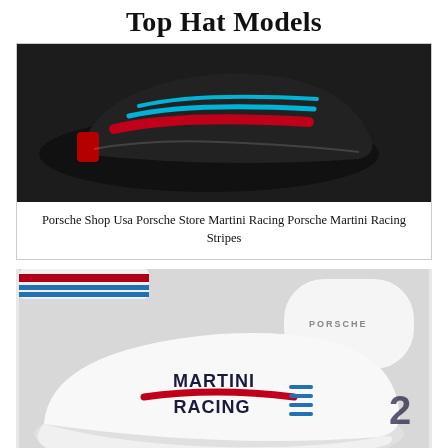Top Hat Models
[Figure (photo): Black Porsche Martini Racing Stripes hat/visor with red and cyan stripes on dark background]
Porsche Shop Usa Porsche Store Martini Racing Porsche Martini Racing Stripes
[Figure (photo): White Porsche Martini Racing cap with MARTINI RACING logo and racing stripes in red and blue, alongside other Porsche branded caps]
Martini Racing Porsche 20 Hat Vintage In 2021 Martini Racing Porsche Martini Racing Hats Vintage